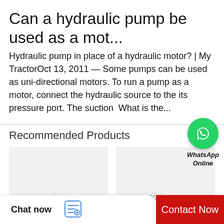Can a hydraulic pump be used as a mot...
Hydraulic pump in place of a hydraulic motor? | My TractorOct 13, 2011 — Some pumps can be used as uni-directional motors. To run a pump as a motor, connect the hydraulic source to the its pressure port. The suction  What is the...
Recommended Products
[Figure (photo): WhatsApp Online button with green circle icon]
[Figure (photo): Product card with no image placeholder]
[Figure (photo): Product card with no image placeholder]
Chat now
Contact Now